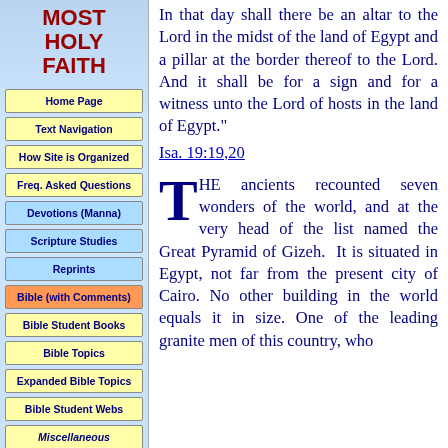MOST HOLY FAITH
Home Page
Text Navigation
How Site is Organized
Freq. Asked Questions
Devotions (Manna)
Scripture Studies
Reprints
Bible (with Comments)
Bible Student Books
Bible Topics
Expanded Bible Topics
Bible Student Webs
Miscellaneous
In that day shall there be an altar to the Lord in the midst of the land of Egypt and a pillar at the border thereof to the Lord. And it shall be for a sign and for a witness unto the Lord of hosts in the land of Egypt." Isa. 19:19,20
THE ancients recounted seven wonders of the world, and at the very head of the list named the Great Pyramid of Gizeh. It is situated in Egypt, not far from the present city of Cairo. No other building in the world equals it in size. One of the leading granite men of this country, who